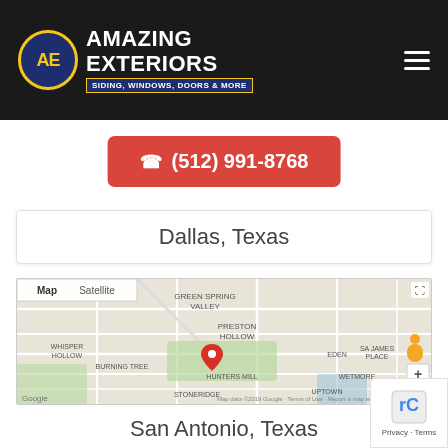Amazing Exteriors – Siding, Windows, Doors & More | (512) 991-8768
Dallas, Texas
[Figure (map): Google Maps embed showing Dallas area neighborhoods including Preston Hollow, Whisper Hollow, Burning Tree, Hunters Mill, Green Spring Valley, Eden, SA James Place, Wetmore, Uptown, Stoneridge with a red location pin marker]
San Antonio, Texas